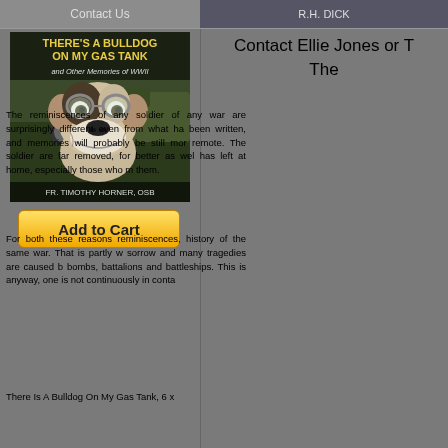Contact Us
Contact Ellie Jones or The
[Figure (photo): Book cover: There's A Bulldog On My Gas Tank and Other Memories of WWII by Fr. Timothy Horner OSB. Shows a bulldog wearing goggles in front of a military vehicle.]
Add to Cart
The reminiscences of any soldier of any war are surprisingly different even from what has been written, and memories will probably be still more remote. The soldier are far removed, for better as well as worse, has left at home, especially those who it them.
For both these reasons reminiscences, history of the same war. That is partly w sorrow and many tragedies are caused b bombs, battalions and battleships. This is anyway, one is not continuously in conta
There Is A Bulldog On My Gas Tank, 6 x